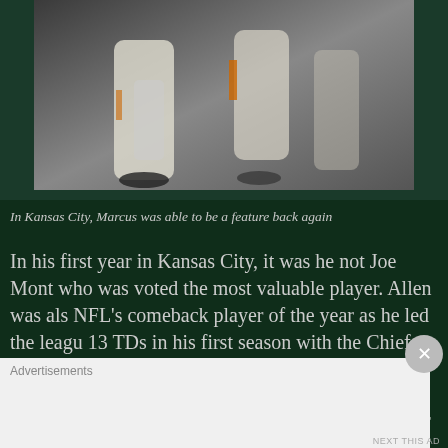[Figure (photo): Football action photo, players in motion, partially cropped at top]
In Kansas City, Marcus was able to be a feature back again
In his first year in Kansas City, it was he not Joe Mont who was voted the most valuable player. Allen was als NFL's comeback player of the year as he led the leagu 13 TDs in his first season with the Chiefs.
Yet we're left with what if again.
After that great 1985 season, Allen wouldn't rush for 1,0 yards again. He finished with 12,243 yards rushing
Advertisements